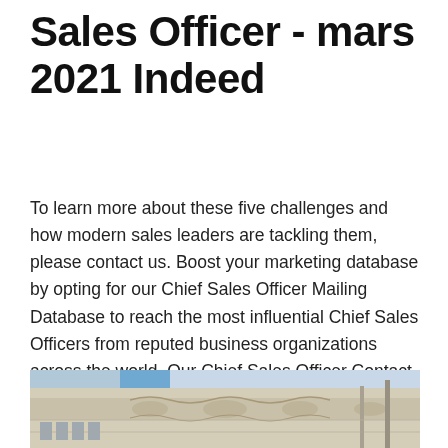Sales Officer - mars 2021 Indeed
To learn more about these five challenges and how modern sales leaders are tackling them, please contact us. Boost your marketing database by opting for our Chief Sales Officer Mailing Database to reach the most influential Chief Sales Officers from reputed business organizations across the world. Our Chief Sales Officer Contact lists are well segmented and provide multiple fields of information such as full names, direct dial numbers, email addresses, social media profile details etc.
[Figure (photo): Photograph of a building facade with ornate stone relief carvings and decorative architectural elements, blue sky visible at top left.]